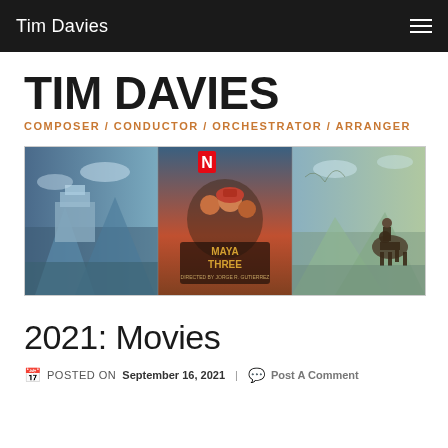Tim Davies
TIM DAVIES
COMPOSER / CONDUCTOR / ORCHESTRATOR / ARRANGER
[Figure (photo): Triptych hero image showing animated fantasy landscape scenes flanking a Maya and the Three Netflix movie poster in the center]
2021: Movies
POSTED ON September 16, 2021 | Post A Comment